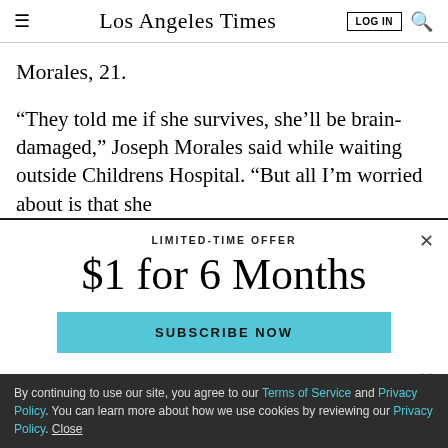Los Angeles Times — LOG IN [search]
Morales, 21.
“They told me if she survives, she’ll be brain-damaged,” Joseph Morales said while waiting outside Childrens Hospital. “But all I’m worried about is that she
[Figure (screenshot): Subscription modal overlay with LIMITED-TIME OFFER label, '$1 for 6 Months' headline, and 'SUBSCRIBE NOW' button in light blue]
By continuing to use our site, you agree to our Terms of Service and Privacy Policy. You can learn more about how we use cookies by reviewing our Privacy Policy. Close